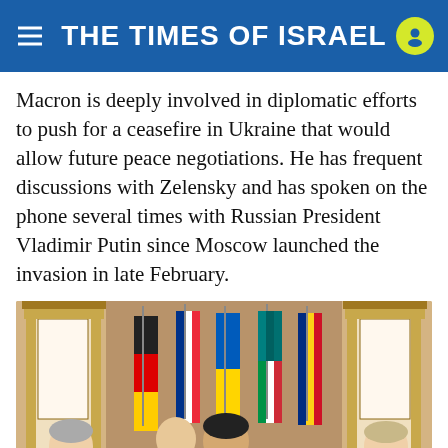THE TIMES OF ISRAEL
Macron is deeply involved in diplomatic efforts to push for a ceasefire in Ukraine that would allow future peace negotiations. He has frequent discussions with Zelensky and has spoken on the phone several times with Russian President Vladimir Putin since Moscow launched the invasion in late February.
[Figure (photo): Leaders meeting in an ornate hall in Kyiv with national flags of Germany, France, Ukraine, Italy, and Romania in the background. Zelensky is seated at the center speaking, with Scholz on the left and Macron on the right.]